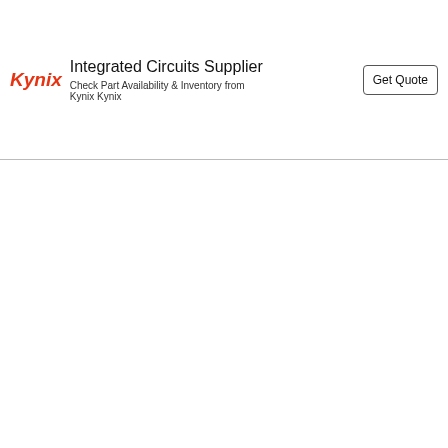[Figure (screenshot): Kynix advertisement banner: logo 'Kynix' in red italic, headline 'Integrated Circuits Supplier', subtext 'Check Part Availability & Inventory from Kynix Kynix', and a 'Get Quote' button]
[PubMed] [DOI]
14
Xiaoxuming decoction for acute ischemic stroke: A systematic review and meta-analysis
Deng-lei Fu,Lin Lu,Wenzong Zhu,Ji-huang Li,Hui-qin Li,Ai-ju Liu,Chenglong Xie,Guo-qing Zheng
Journal of Ethnopharmacology. 2013; 148(1): 1
roke
review
domized
iin,Myeong-n Kim
ive
This website uses cookies. By continuing to use this website you are giving consent to cookies being used. For information on cookies and how you can disable them visit our
Privacy and Cookie Policy.
AGREE & PROCEED
systematic review of randomized